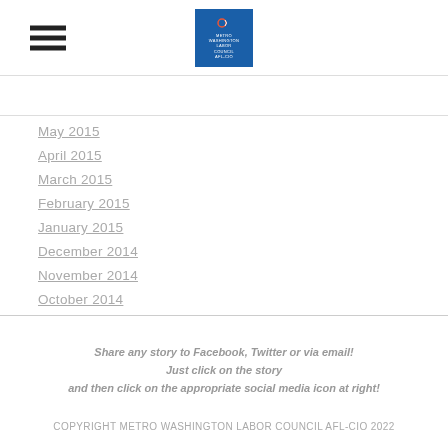Metro Washington Labor Council AFL-CIO header with hamburger menu and logo
May 2015
April 2015
March 2015
February 2015
January 2015
December 2014
November 2014
October 2014
Share any story to Facebook, Twitter or via email! Just click on the story and then click on the appropriate social media icon at right!
COPYRIGHT METRO WASHINGTON LABOR COUNCIL AFL-CIO 2022